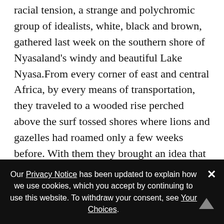While Africa strained under the growing pressure of racial tension, a strange and polychromic group of idealists, white, black and brown, gathered last week on the southern shore of Nyasaland's windy and beautiful Lake Nyasa.From every corner of east and central Africa, by every means of transportation, they traveled to a wooded rise perched above the surf tossed shores where lions and gazelles had roamed only a few weeks before. With them they brought an idea that they hope will change all Africa into a land without racial barriers or bitterness. The site of the Capricorn Africa Society's first convention was proof of the difficulties they face. In order to ensure that its 180 delegates could talk, eat
Our Privacy Notice has been updated to explain how we use cookies, which you accept by continuing to use this website. To withdraw your consent, see Your Choices.